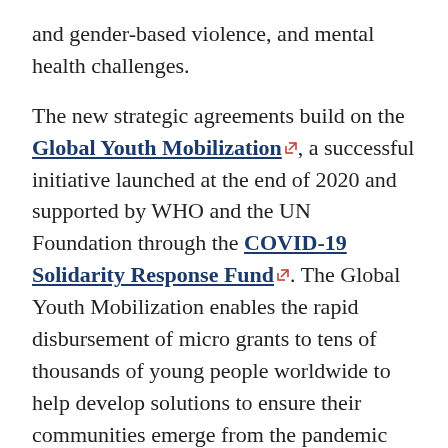and gender-based violence, and mental health challenges.
The new strategic agreements build on the Global Youth Mobilization, a successful initiative launched at the end of 2020 and supported by WHO and the UN Foundation through the COVID-19 Solidarity Response Fund. The Global Youth Mobilization enables the rapid disbursement of micro grants to tens of thousands of young people worldwide to help develop solutions to ensure their communities emerge from the pandemic stronger than before. Through the “Local Solutions”, young people are driving